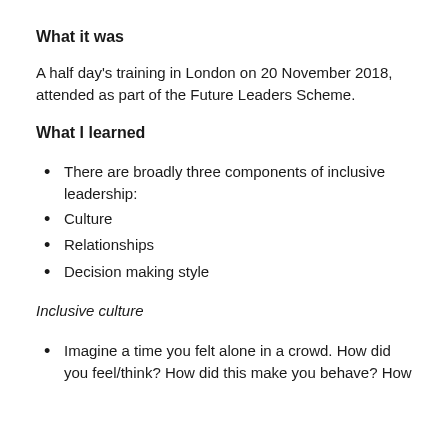What it was
A half day's training in London on 20 November 2018, attended as part of the Future Leaders Scheme.
What I learned
There are broadly three components of inclusive leadership:
Culture
Relationships
Decision making style
Inclusive culture
Imagine a time you felt alone in a crowd. How did you feel/think? How did this make you behave? How